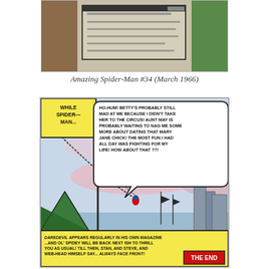[Figure (illustration): Top portion of a comic book page showing a partial panel with green and brown tones, containing a rectangular inset with horizontal lines suggesting text.]
Amazing Spider-Man #34 (March 1966)
[Figure (illustration): Comic book panel from Amazing Spider-Man #34. Spider-Man swings through the sky on a web near a flagpole with a green flag and a circus tent below. Speech bubble reads: 'HO-HUM! BETTY'S PROBABLY STILL MAD AT ME BECAUSE I DIDN'T TAKE HER TO THE CIRCUS! AUNT MAY IS PROBABLY WAITING TO NAG ME SOME MORE ABOUT DATING THAT MARY JANE CHICK! THE MOST FUN I HAD ALL DAY WAS FIGHTING FOR MY LIFE! HOW ABOUT THAT ??!' A caption box reads 'WHILE SPIDER-MAN...' Bottom text reads: 'DAREDEVIL APPEARS REGULARLY IN HIS OWN MAGAZINE ...AND OL' SPIDEY WILL BE BACK NEXT ISH TO THRILL YOU AS USUAL! TILL THEN, STAN, AND STEVE, AND WEB-HEAD HIMSELF SAY... ALWAYS FACE FRONT!' with 'THE END' in a red box.]